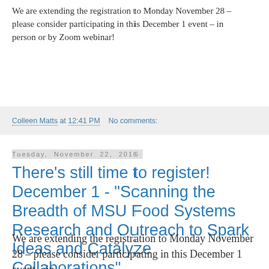We are extending the registration to Monday November 28 – please consider participating in this December 1 event – in person or by Zoom webinar!
Colleen Matts at 12:41 PM   No comments:
Tuesday, November 22, 2016
There's still time to register! December 1 - "Scanning the Breadth of MSU Food Systems Research and Outreach to Spark Ideas and Catalyze Collaborations"
We are extending the registration to Monday November 28 – please consider participating in this December 1 event – in